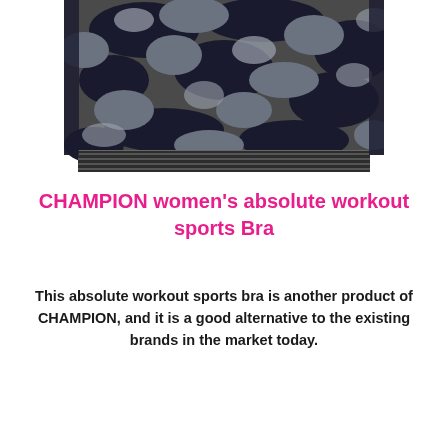[Figure (photo): Close-up photo of a Champion women's sports bra in dark camouflage pattern (black, dark grey, grey tones) with a striped elastic band at the bottom.]
CHAMPION women's absolute workout sports Bra
This absolute workout sports bra is another product of CHAMPION, and it is a good alternative to the existing brands in the market today.